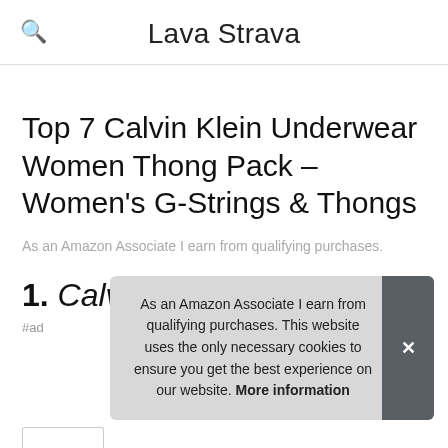Lava Strava
Top 7 Calvin Klein Underwear Women Thong Pack – Women's G-Strings & Thongs
As an Amazon Associate I earn from qualifying purchases.
1. Calvin Klein
#ad
As an Amazon Associate I earn from qualifying purchases. This website uses the only necessary cookies to ensure you get the best experience on our website. More information